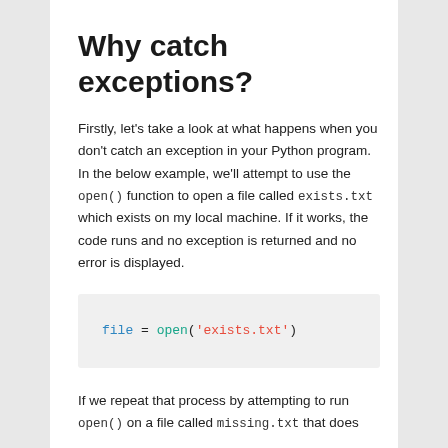Why catch exceptions?
Firstly, let's take a look at what happens when you don't catch an exception in your Python program. In the below example, we'll attempt to use the open() function to open a file called exists.txt which exists on my local machine. If it works, the code runs and no exception is returned and no error is displayed.
[Figure (screenshot): Code block showing: file = open('exists.txt')]
If we repeat that process by attempting to run open() on a file called missing.txt that does